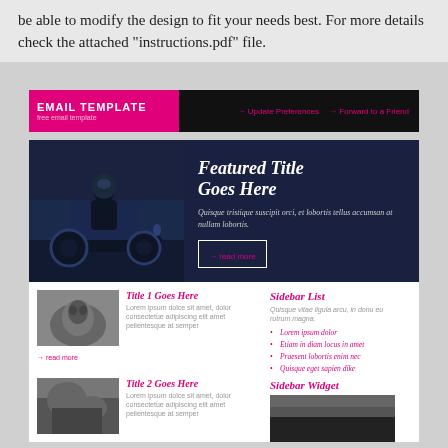be able to modify the design to fit your needs best. For more details check the attached "instructions.pdf" file.
[Figure (screenshot): Email template preview showing a header with 'EMAIL TEMPLATE' brand, navigation links, featured motorcycle banner, article listings with images, and a sidebar with list and widget.]
Featured Title Goes Here
Quisque tristique suscipit orci, et lobortis tellus accumsan at nullam lobortis.
Title 1 Goes Here
Lorem ipsum dolce sit amet, dolor consectetue adipiscing elit amet pellentesque at semper
Title 2 Goes Here
Lorem ipsum dolce sit amet, dolor consectetue adipiscing elit amet pellentesque at semper
Title 3 Goes Here
Lorem ipsum dolce sit amet, dolor consectetue adipiscing elit amet
Sidebar List
Quisque vitae ligula arcu, in donu eu rutrum magna.
Lorem ipsum dolor
Etiam in diam locus in amet
Praesent lobortis enim nec
Quisque eget sapien dike
Sidebar Widget
Quisque igula arcu, in rutrum